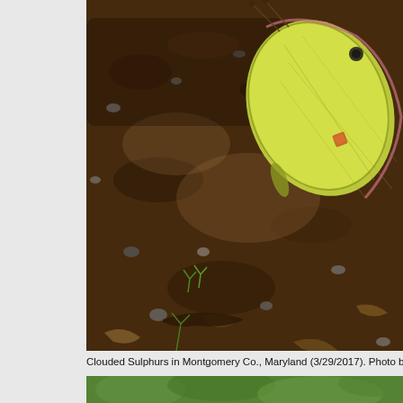[Figure (photo): Close-up photograph of a Clouded Sulphur butterfly resting on dark soil/dirt ground with small pebbles and plant debris. The butterfly is yellow-green with visible wing markings, positioned in the upper-right area of the frame.]
Clouded Sulphurs in Montgomery Co., Maryland (3/29/2017). Photo b
[Figure (photo): Partial photograph at bottom of page showing blurred green foliage background, appears to be beginning of another butterfly photo.]